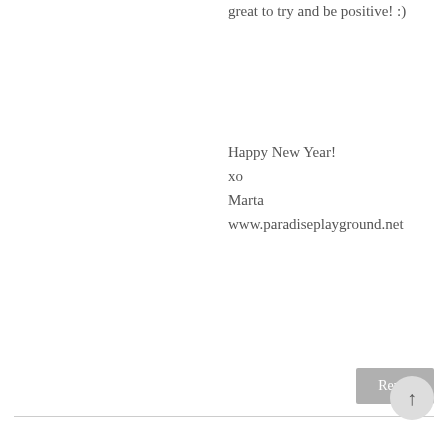great to try and be positive! :)
Happy New Year!
xo
Marta
www.paradiseplayground.net
Reply
ARVIN U. DE LA PEÑA
December 31, 2016 at 4:59 PM
thanks for being part of…